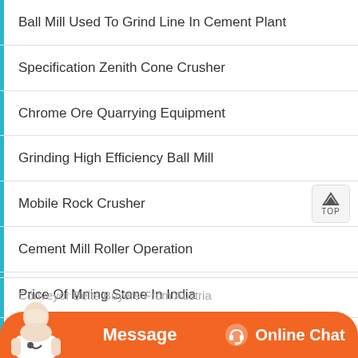Ball Mill Used To Grind Line In Cement Plant
Specification Zenith Cone Crusher
Chrome Ore Quarrying Equipment
Grinding High Efficiency Ball Mill
Mobile Rock Crusher
Cement Mill Roller Operation
Price Of Mning Stone In India
Conveyor Belts Buyers From Austria